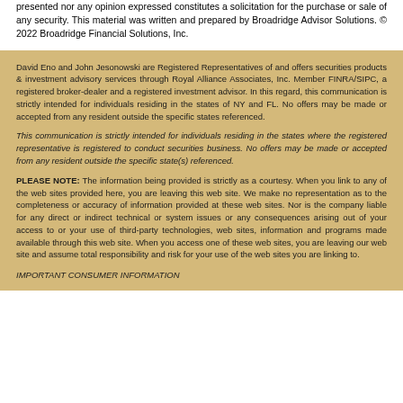presented nor any opinion expressed constitutes a solicitation for the purchase or sale of any security. This material was written and prepared by Broadridge Advisor Solutions. © 2022 Broadridge Financial Solutions, Inc.
David Eno and John Jesonowski are Registered Representatives of and offers securities products & investment advisory services through Royal Alliance Associates, Inc. Member FINRA/SIPC, a registered broker-dealer and a registered investment advisor. In this regard, this communication is strictly intended for individuals residing in the states of NY and FL. No offers may be made or accepted from any resident outside the specific states referenced.
This communication is strictly intended for individuals residing in the states where the registered representative is registered to conduct securities business. No offers may be made or accepted from any resident outside the specific state(s) referenced.
PLEASE NOTE: The information being provided is strictly as a courtesy. When you link to any of the web sites provided here, you are leaving this web site. We make no representation as to the completeness or accuracy of information provided at these web sites. Nor is the company liable for any direct or indirect technical or system issues or any consequences arising out of your access to or your use of third-party technologies, web sites, information and programs made available through this web site. When you access one of these web sites, you are leaving our web site and assume total responsibility and risk for your use of the web sites you are linking to.
IMPORTANT CONSUMER INFORMATION